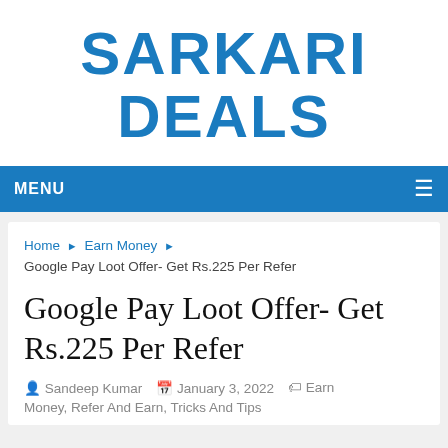SARKARI DEALS
MENU
Home ▶ Earn Money ▶ Google Pay Loot Offer- Get Rs.225 Per Refer
Google Pay Loot Offer- Get Rs.225 Per Refer
Sandeep Kumar   January 3, 2022   Earn Money, Refer And Earn, Tricks And Tips